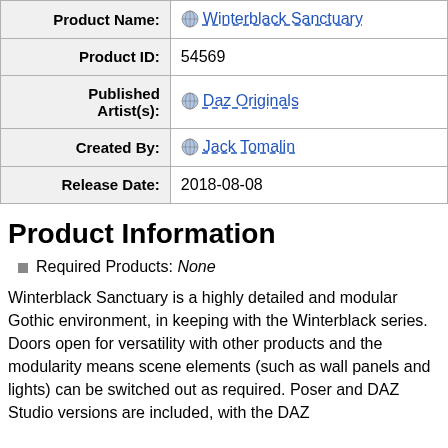| Field | Value |
| --- | --- |
| Product Name: | Winterblack Sanctuary |
| Product ID: | 54569 |
| Published Artist(s): | Daz Originals |
| Created By: | Jack Tomalin |
| Release Date: | 2018-08-08 |
Product Information
Required Products: None
Winterblack Sanctuary is a highly detailed and modular Gothic environment, in keeping with the Winterblack series. Doors open for versatility with other products and the modularity means scene elements (such as wall panels and lights) can be switched out as required. Poser and DAZ Studio versions are included, with the DAZ